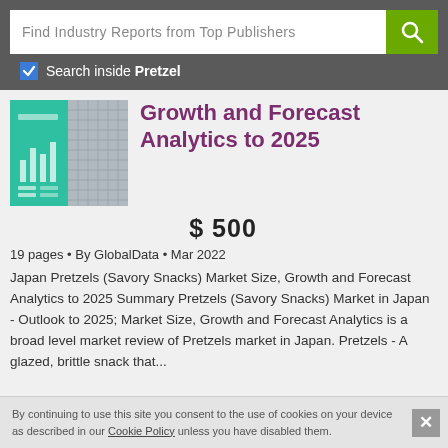Find Industry Reports from Top Publishers
Search inside Pretzel
[Figure (screenshot): Thumbnail cover image of a market research report with green and photo panels]
Growth and Forecast Analytics to 2025
$ 500
19 pages • By GlobalData • Mar 2022
Japan Pretzels (Savory Snacks) Market Size, Growth and Forecast Analytics to 2025 Summary Pretzels (Savory Snacks) Market in Japan - Outlook to 2025; Market Size, Growth and Forecast Analytics is a broad level market review of Pretzels market in Japan. Pretzels - A glazed, brittle snack that...
By continuing to use this site you consent to the use of cookies on your device as described in our Cookie Policy unless you have disabled them.